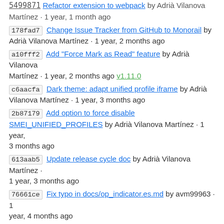5499871 Refactor extension to webpack by Adrià Vilanova Martínez · 1 year, 1 month ago
178fad7 Change Issue Tracker from GitHub to Monorail by Adrià Vilanova Martínez · 1 year, 2 months ago
a10fff2 Add "Force Mark as Read" feature by Adrià Vilanova Martínez · 1 year, 2 months ago v1.11.0
c6aacfa Dark theme: adapt unified profile iframe by Adrià Vilanova Martínez · 1 year, 3 months ago
2b87179 Add option to force disable SMEI_UNIFIED_PROFILES by Adrià Vilanova Martínez · 1 year, 3 months ago
613aab5 Update release cycle doc by Adrià Vilanova Martínez · 1 year, 3 months ago
76661ce Fix typo in docs/op_indicator.es.md by avm99963 · 1 year, 4 months ago
a858ef7 Deprecate smei_sortdirection option by avm99963 · 1 year, 4 months ago
bf8eece Add support for experiments by avm99963 · 1 year, 4 months ago